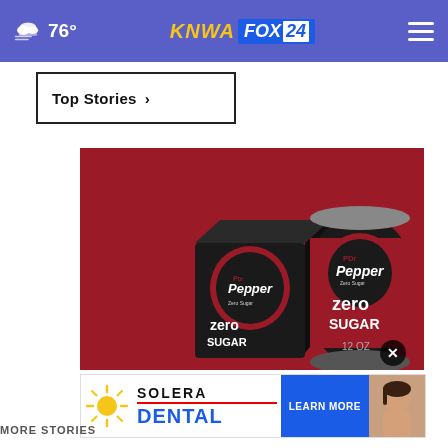76° KNWA FOX 24
Top Stories ›
[Figure (photo): Dr Pepper Zero Sugar 24-pack box and can advertisement on dark red background]
[Figure (advertisement): Solera Dental advertisement with logo, red underline, DENTAL text in blue, LEARN MORE button, and woman's face]
MORE STORIES